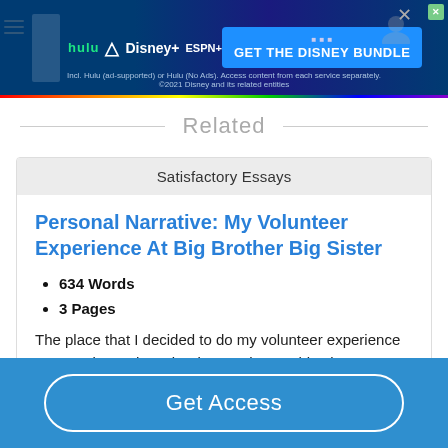[Figure (screenshot): Disney Bundle advertisement banner showing Hulu, Disney+, and ESPN+ logos with 'GET THE DISNEY BUNDLE' call to action button and a rainbow bar at the bottom.]
Related
Satisfactory Essays
Personal Narrative: My Volunteer Experience At Big Brother Big Sister
634 Words
3 Pages
The place that I decided to do my volunteer experience was at Big Brother Big Sister. I choose this place because I was
Get Access